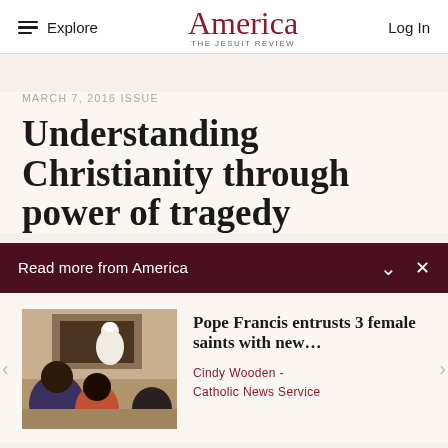Explore | America THE JESUIT REVIEW | Log In
MARCH 7, 2016 ISSUE
Understanding Christianity through power of tragedy
Read more from America
[Figure (photo): Pope Francis sitting and speaking with a group of people in a room]
Pope Francis entrusts 3 female saints with new…
Cindy Wooden -
Catholic News Service